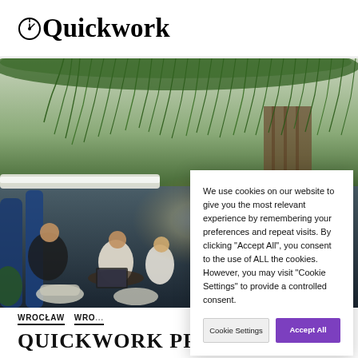Quickwork
[Figure (photo): Interior photo of a modern co-working space with hanging green plants on the ceiling, blue pod seating dividers, people sitting and working, and a large round pendant light fixture.]
We use cookies on our website to give you the most relevant experience by remembering your preferences and repeat visits. By clicking "Accept All", you consent to the use of ALL the cookies. However, you may visit "Cookie Settings" to provide a controlled consent.
Cookie Settings   Accept All
WROCŁAW  WRO...
QUICKWORK PREMIUM